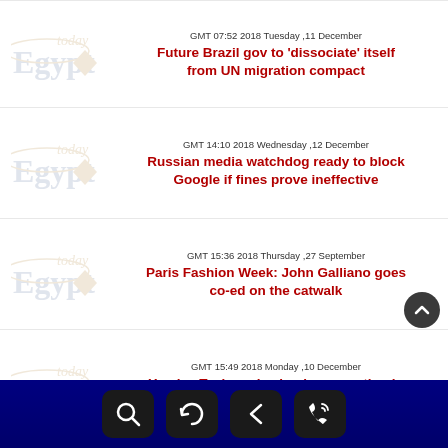GMT 07:52 2018 Tuesday ,11 December
Future Brazil gov to 'dissociate' itself from UN migration compact
GMT 14:10 2018 Wednesday ,12 December
Russian media watchdog ready to block Google if fines prove ineffective
GMT 15:36 2018 Thursday ,27 September
Paris Fashion Week: John Galliano goes co-ed on the catwalk
GMT 15:49 2018 Monday ,10 December
Yandex.Taxi service begins operating in Israel under Yango brand
[Figure (other): App navigation footer bar with search, refresh, back, and phone icons on dark blue background]